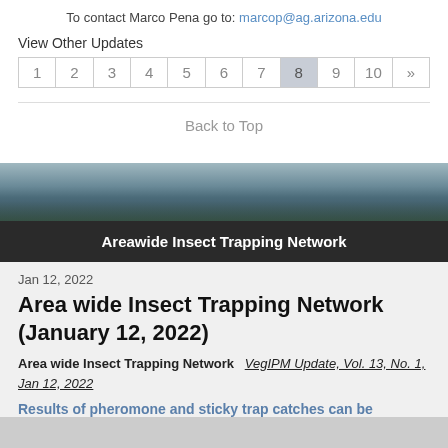To contact Marco Pena go to: marcop@ag.arizona.edu
View Other Updates
| 1 | 2 | 3 | 4 | 5 | 6 | 7 | 8 | 9 | 10 | » |
Back to Top
[Figure (photo): Landscape banner with sky and fields]
Areawide Insect Trapping Network
Jan 12, 2022
Area wide Insect Trapping Network (January 12, 2022)
Area wide Insect Trapping Network   VegIPM Update, Vol. 13, No. 1, Jan 12, 2022
Results of pheromone and sticky trap catches can be